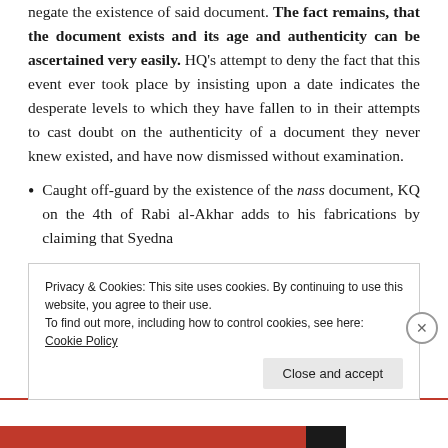negate the existence of said document. The fact remains, that the document exists and its age and authenticity can be ascertained very easily. HQ's attempt to deny the fact that this event ever took place by insisting upon a date indicates the desperate levels to which they have fallen to in their attempts to cast doubt on the authenticity of a document they never knew existed, and have now dismissed without examination.
Caught off-guard by the existence of the nass document, KQ on the 4th of Rabi al-Akhar adds to his fabrications by claiming that Syedna
Privacy & Cookies: This site uses cookies. By continuing to use this website, you agree to their use.
To find out more, including how to control cookies, see here: Cookie Policy